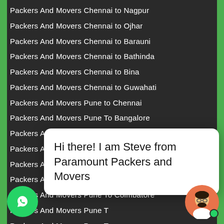Packers And Movers Chennai to Nagpur
Packers And Movers Chennai to Ojhar
Packers And Movers Chennai to Barauni
Packers And Movers Chennai to Bathinda
Packers And Movers Chennai to Bina
Packers And Movers Chennai to Guwahati
Packers And Movers Pune to Chennai
Packers And Movers Pune To Bangalore
Packers And Movers Pune To Hyderabad
Packers And Movers Pune To Delhi
Packers And Movers Pune To Kolkata
Packers And Movers Pune To Goa
Packers And Movers Pune To Coimbatore
Packers And Movers Pune To Patna
Packers And Movers Pune To ...
Packers And Movers Pune ...
Packers And Movers Pune ...
Packers And Movers Pune ...
Packers And Movers Pune to Patna
Packers And Movers Pune to Nagpur
Chennai Packers And Movers Pune
Chennai Pune Packers And Movers Pune
Hi there! I am Steve from Paramount Packers and Movers